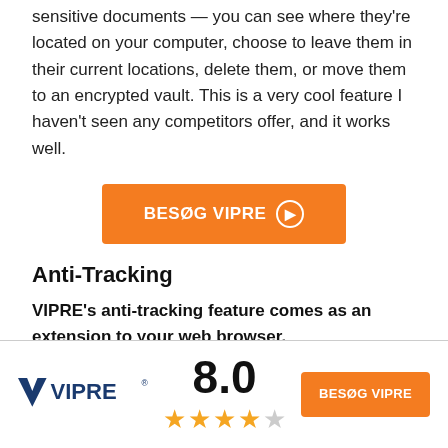sensitive documents — you can see where they're located on your computer, choose to leave them in their current locations, delete them, or move them to an encrypted vault. This is a very cool feature I haven't seen any competitors offer, and it works well.
[Figure (other): Orange button with text BESØG VIPRE and a right arrow icon]
Anti-Tracking
VIPRE's anti-tracking feature comes as an extension to your web browser.
[Figure (logo): VIPRE logo in footer bar]
8.0
[Figure (other): 4 filled gold stars and 1 empty gray star rating]
[Figure (other): Orange button with text BESØG VIPRE in footer]